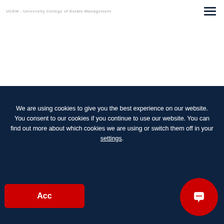UCEM - University College of Estate Management
CATHY HIGGS, UCEM DEAN
[Figure (screenshot): Dark red/maroon video thumbnail with TikTok-style icon on right side, play button graphic on left]
We are using cookies to give you the best experience on our website. You consent to our cookies if you continue to use our website. You can find out more about which cookies we are using or switch them off in your settings.
Acc